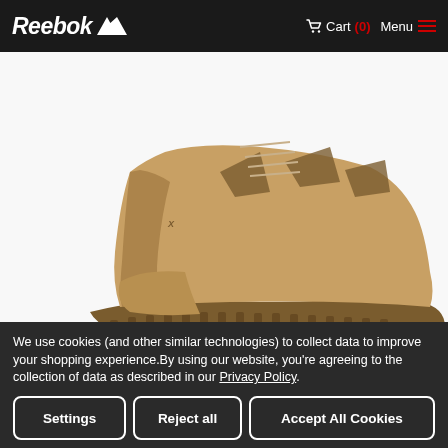Reebok  Cart (0) Menu
[Figure (photo): Close-up side view of a tan/coyote brown tactical military boot with thick rubber sole and mesh paneling]
[Figure (photo): Five thumbnail product images of the same tan tactical boot from different angles: side, front quarter, front, back, and sole]
We use cookies (and other similar technologies) to collect data to improve your shopping experience.By using our website, you're agreeing to the collection of data as described in our Privacy Policy.
Settings
Reject all
Accept All Cookies